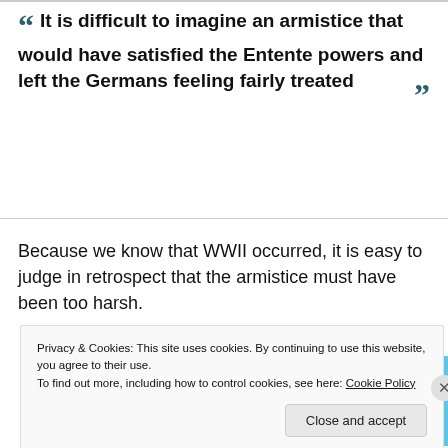“ It is difficult to imagine an armistice that would have satisfied the Entente powers and left the Germans feeling fairly treated ”
Because we know that WWII occurred, it is easy to judge in retrospect that the armistice must have been too harsh.
[Figure (other): Advertisement banner for Day One journaling app, blue background with app icons and tagline: The only journaling app you'll ever need.]
Privacy & Cookies: This site uses cookies. By continuing to use this website, you agree to their use.
To find out more, including how to control cookies, see here: Cookie Policy
Close and accept